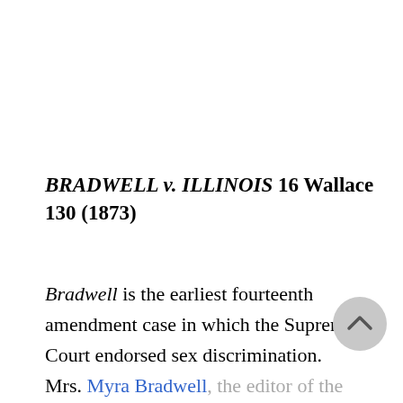BRADWELL v. ILLINOIS 16 Wallace 130 (1873)
Bradwell is the earliest fourteenth amendment case in which the Supreme Court endorsed sex discrimination. Mrs. Myra Bradwell, the editor of the Chicago Legal News, was